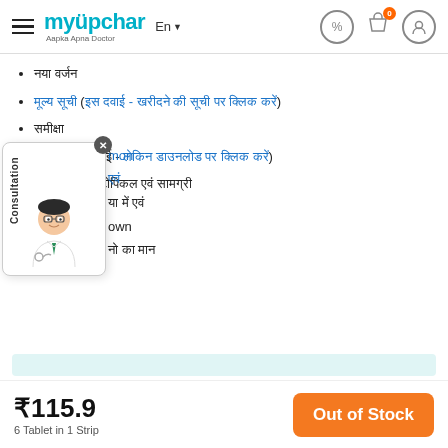myUpchar - Aapka Apna Doctor | En | Header navigation
नया वर्जन
मूल्य सूची (इस दवाई - खरीदने की सूची पर क्लिक करें)
समीक्षा
प्रयोग (इस दवाई - लेकिन डाउनलोड पर क्लिक करें)
मेट्रोनिडेजोल टोपिकल एवं सामग्री
[Figure (screenshot): Consultation popup widget with doctor avatar and close button overlaying the list content]
mon
एवं
या में एवं
own
नो का मान
₹115.9
6 Tablet in 1 Strip
Out of Stock